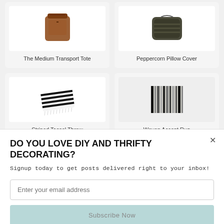[Figure (photo): Product card: The Medium Transport Tote - brown leather bag]
The Medium Transport Tote
[Figure (photo): Product card: Peppercorn Pillow Cover - dark decorative pillow]
Peppercorn Pillow Cover
[Figure (photo): Product card: Striped Tassel Throw - black and white striped throw blanket with fringe]
Striped Tassel Throw
[Figure (photo): Product card: Woven Accent Rug - monochrome striped rug]
Woven Accent Rug
DO YOU LOVE DIY AND THRIFTY DECORATING?
Signup today to get posts delivered right to your inbox!
Enter your email address
Subscribe Now